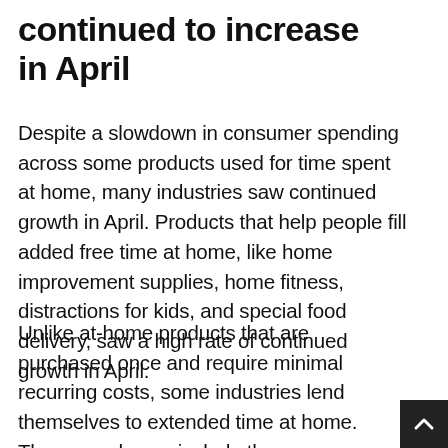continued to increase in April
Despite a slowdown in consumer spending across some products used for time spent at home, many industries saw continued growth in April. Products that help people fill added free time at home, like home improvement supplies, home fitness, distractions for kids, and special food delivery, saw a high rate of continued growth in April.
Unlike at-home products that are purchased once and require minimal recurring costs, some industries lend themselves to extended time at home. These purchases include those